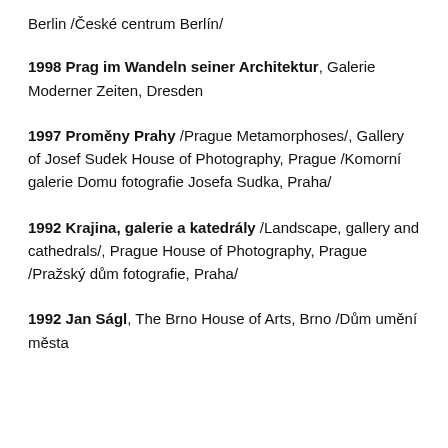Berlin /České centrum Berlín/
1998 Prag im Wandeln seiner Architektur, Galerie Moderner Zeiten, Dresden
1997 Proměny Prahy /Prague Metamorphoses/, Gallery of Josef Sudek House of Photography, Prague /Komorní galerie Domu fotografie Josefa Sudka, Praha/
1992 Krajina, galerie a katedrály /Landscape, gallery and cathedrals/, Prague House of Photography, Prague /Pražský dům fotografie, Praha/
1992 Jan Ságl, The Brno House of Arts, Brno /Dům umění města